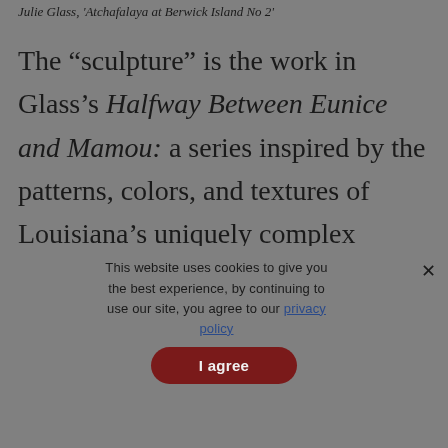Julie Glass, 'Atchafalaya at Berwick Island No 2'
The “sculpture” is the work in Glass’s Halfway Between Eunice and Mamou: a series inspired by the patterns, colors, and textures of Louisiana’s uniquely complex circulatory system of waterways—a system
This website uses cookies to give you the best experience, by continuing to use our site, you agree to our privacy policy
I agree